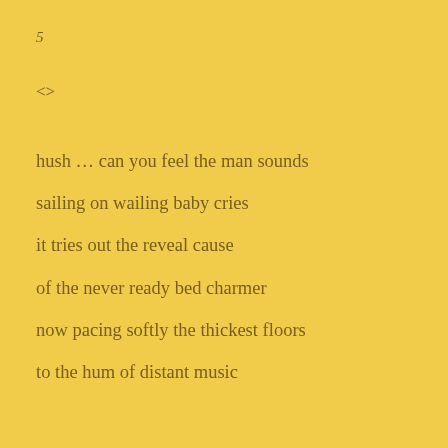5
<>
hush … can you feel the man sounds
sailing on wailing baby cries
it tries out the reveal cause
of the never ready bed charmer
now pacing softly the thickest floors
to the hum of distant music